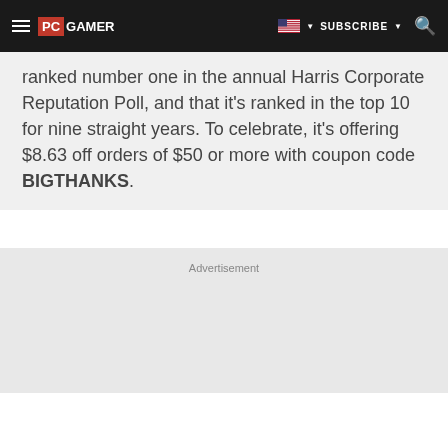PC GAMER | SUBSCRIBE
ranked number one in the annual Harris Corporate Reputation Poll, and that it's ranked in the top 10 for nine straight years. To celebrate, it's offering $8.63 off orders of $50 or more with coupon code BIGTHANKS.
Advertisement